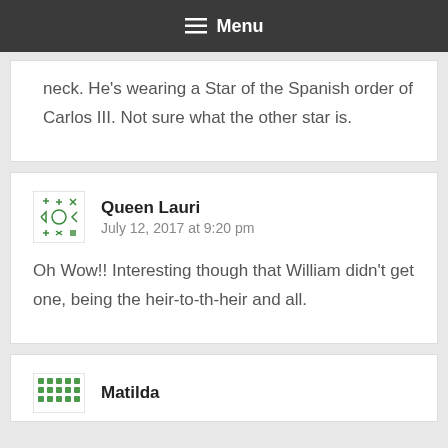Menu
neck. He's wearing a Star of the Spanish order of Carlos III. Not sure what the other star is.
Queen Lauri
July 12, 2017 at 9:20 pm

Oh Wow!! Interesting though that William didn't get one, being the heir-to-th-heir and all.
Matilda